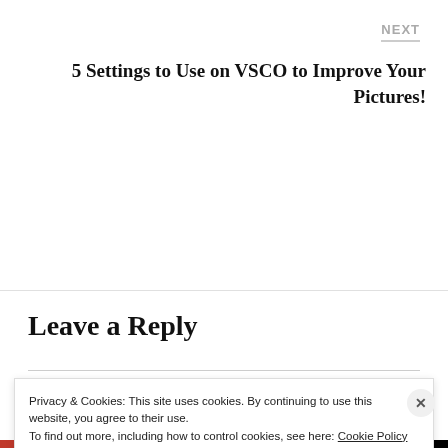NEXT
5 Settings to Use on VSCO to Improve Your Pictures!
Leave a Reply
Your email address will not be published.
Privacy & Cookies: This site uses cookies. By continuing to use this website, you agree to their use.
To find out more, including how to control cookies, see here: Cookie Policy
Close and accept